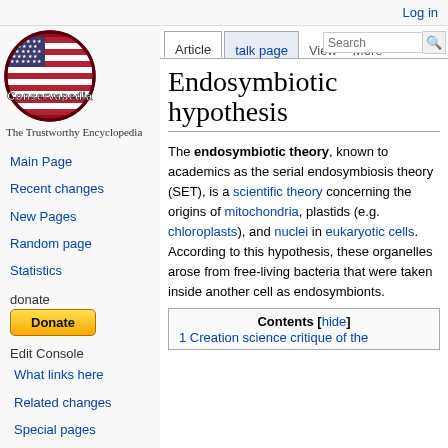Log in
[Figure (logo): Conservapedia logo: circular badge with American flag inside, text 'Conservapedia' overlaid, subtitle 'The Trustworthy Encyclopedia']
Main Page
Recent changes
New Pages
Random page
Statistics
donate
Edit Console
What links here
Related changes
Special pages
Printable version
Permanent link
Endosymbiotic hypothesis
The endosymbiotic theory, known to academics as the serial endosymbiosis theory (SET), is a scientific theory concerning the origins of mitochondria, plastids (e.g. chloroplasts), and nuclei in eukaryotic cells. According to this hypothesis, these organelles arose from free-living bacteria that were taken inside another cell as endosymbionts.
Contents [hide]
1 Creation science critique of the